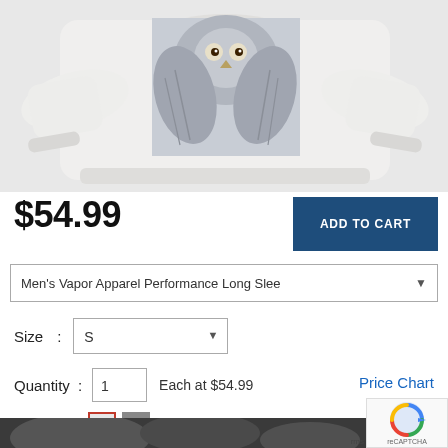[Figure (photo): White crewneck sweatshirt with an owl graphic print on the front, shown on a flat/model display against white background]
$54.99
ADD TO CART
Men's Vapor Apparel Performance Long Slee▼
Size : S ▼
Quantity : 1   Each at $54.99   Price Chart
Colors :
[Figure (photo): Bottom portion of owl/nature image, dark tones]